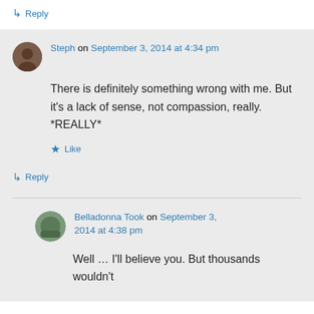↳ Reply
Steph on September 3, 2014 at 4:34 pm
There is definitely something wrong with me. But it's a lack of sense, not compassion, really. *REALLY*
★ Like
↳ Reply
Belladonna Took on September 3, 2014 at 4:38 pm
Well … I'll believe you. But thousands wouldn't